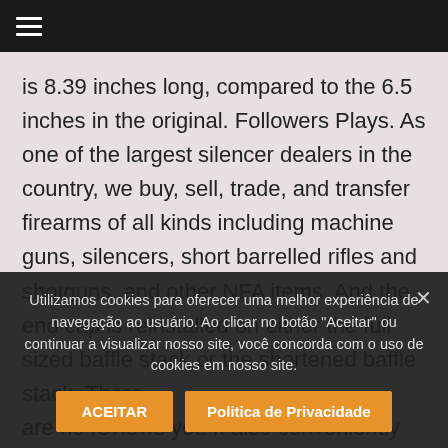is 8.39 inches long, compared to the 6.5 inches in the original. Followers Plays. As one of the largest silencer dealers in the country, we buy, sell, trade, and transfer firearms of all kinds including machine guns, silencers, short barrelled rifles and shotguns, and other NFA items. And the end cap is reinstalled on either the full sized baffle stack or the shortened baffle stack. There
are no reviews yet. It also conveniently stores the removed cap. Energetic Armament Front Cap
Cap $ 85.00. You're solid. Out of stock. SMK-SOL-ZF This is the Deadair
Sandman K or the 5.56 Dead Cap
Utilizamos cookies para oferecer uma melhor experiência de navegação ao usuário. Ao clicar no botão "Aceitar" ou continuar a visualizar nosso site, você concorda com o uso de cookies em nosso site.